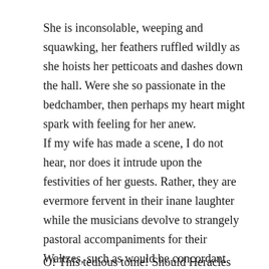She is inconsolable, weeping and squawking, her feathers ruffled wildly as she hoists her petticoats and dashes down the hall. Were she so passionate in the bedchamber, then perhaps my heart might spark with feeling for her anew.
If my wife has made a scene, I do not hear, nor does it intrude upon the festivities of her guests. Rather, they are evermore fervent in their inane laughter while the musicians devolve to strangely pastoral accompaniments for their Waltzes, such as would be concordant with a peasant’s bonfire revelry. Mad piping of flutes and scrambled stroking of strings. It pleases me no more or less than their previous attempts.
O! This tedious tome! Should Heracles committed